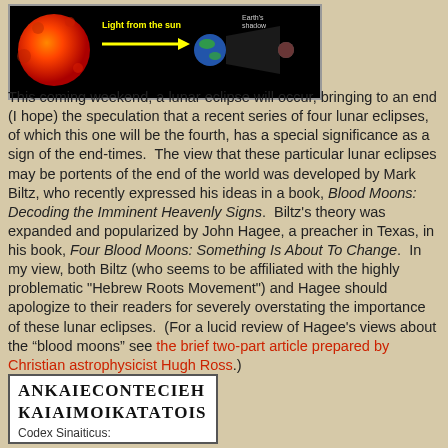[Figure (illustration): Diagram of a lunar eclipse showing the sun on the left, light arrow pointing right toward Earth, and Earth's shadow with moon. Sun depicted as fiery red-orange sphere. Black background with labels 'Light from the sun' and arrow.]
This coming weekend, a lunar eclipse will occur, bringing to an end (I hope) the speculation that a recent series of four lunar eclipses, of which this one will be the fourth, has a special significance as a sign of the end-times.  The view that these particular lunar eclipses may be portents of the end of the world was developed by Mark Biltz, who recently expressed his ideas in a book, Blood Moons: Decoding the Imminent Heavenly Signs.  Biltz’s theory was expanded and popularized by John Hagee, a preacher in Texas, in his book, Four Blood Moons: Something Is About To Change.  In my view, both Biltz (who seems to be affiliated with the highly problematic "Hebrew Roots Movement") and Hagee should apologize to their readers for severely overstating the importance of these lunar eclipses.  (For a lucid review of Hagee’s views about the “blood moons” see the brief two-part article prepared by Christian astrophysicist Hugh Ross.)
[Figure (photo): Image from Codex Sinaiticus showing ancient Greek text. Two lines of large Greek uncial letters followed by the label 'Codex Sinaiticus:']